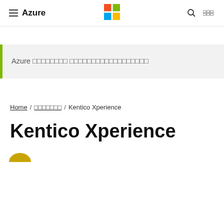≡ Azure [Microsoft logo] [search] [grid]
Azure □□□□□□□□ □□□□□□□□□□□□□□□□□□
Home / □□□□□□□ / Kentico Xperience
Kentico Xperience